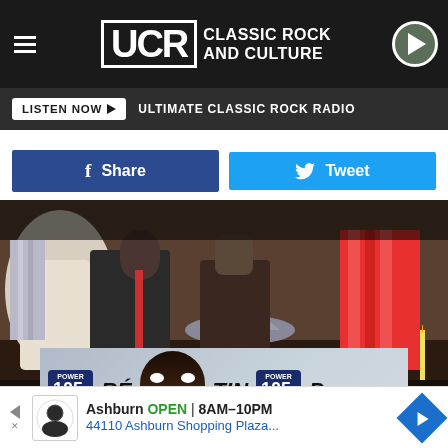UCR Classic Rock and Culture
LISTEN NOW ▶  ULTIMATE CLASSIC ROCK RADIO
f Share   Tweet
[Figure (photo): Group of people seated at a table with hats, candles, and metal goblets in a dark restaurant setting.]
Keystone, Hulton Archive, Getty Images
[Figure (photo): Power 105.1 advertisement banner with a man and text RE TIN]
[Figure (other): Google ad: Ashburn OPEN 8AM-10PM, 44110 Ashburn Shopping Plaza...]